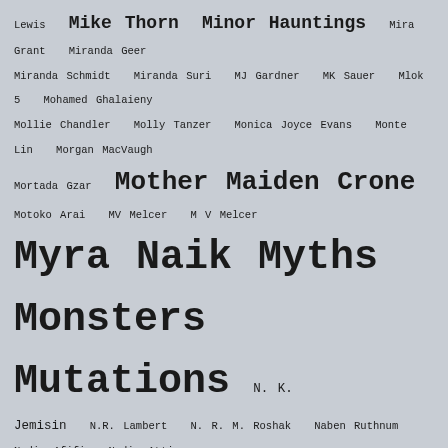[Figure (other): Tag cloud of author names and publication titles in varying font sizes indicating relative frequency or prominence. Names include Lewis, Mike Thorn, Minor Hauntings, Mira Grant, Miranda Geer, Miranda Schmidt, Miranda Suri, MJ Gardner, MK Sauer, Mlok 5, Mohamed Ghalaieny, Mollie Chandler, Molly Tanzer, Monica Joyce Evans, Monte Lin, Morgan MacVaugh, Mortada Gzar, Mother Maiden Crone, Motoko Arai, MV Melcer, M V Melcer, Myra Naik, Myths Monsters Mutations, N. K. Jemisin, N.R. Lambert, N. R. M. Roshak, Naben Ruthnum, Nadia Afifi, Nadia Attia, Nalo Hopkinson, Nancy Kress, Nanna Bach-Møller, Naomi Kritzer, Naomi Libicki, Narelle M. Harris, Natalia Theodoridou, Natalia Yanchek, Natasha Burge, Natasha Grodzinski, Natasha Suri, Navah Wolfe, Nellie K. Neves, NF, Nick Mamatas, Nickolas Ozment, Nick Wolven, Nicole Crucial, Nicole Givens Kurtz, Nicole Janeway, Nicole Lungerhausen, Nicole Robb, Nightmare Magazine, Niki Kools, Nikki Blakely, Nikoline Kaiser, Nisi Shawl, Noeleen Kavanagh, No Man Of Woman Born, Noor Hemani, Norman Spinrad, Nuzo Onoh, O. J. Cade, Octavia E. Butler, Odida Nyabundi, Oghenchovwe Donald Ekpeki, Olga Kolesnikova, Oliver Herbort, Orrin Grey, Osahon Ize-Iyamu, P, P. A. Cornell, P. Djèli Clark, P. K. Torrens]